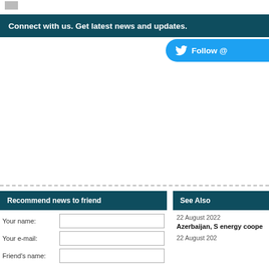Connect with us. Get latest news and updates.
[Figure (other): Twitter Follow button with bird icon and text 'Follow @']
Recommend news to friend
Your name:
Your e-mail:
Friend's name:
See Also
22 August 2022
Azerbaijan, S energy coope
22 August 202